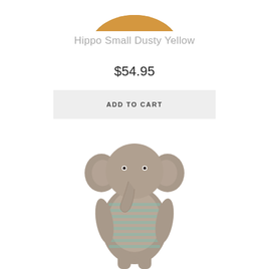[Figure (photo): Partial photo of a small yellow/mustard colored hippo stuffed animal toy, cropped at top of page]
Hippo Small Dusty Yellow
$54.95
ADD TO CART
[Figure (photo): Photo of a grey elephant stuffed animal toy wearing a teal/mint striped shirt, with large floppy ears and a trunk]